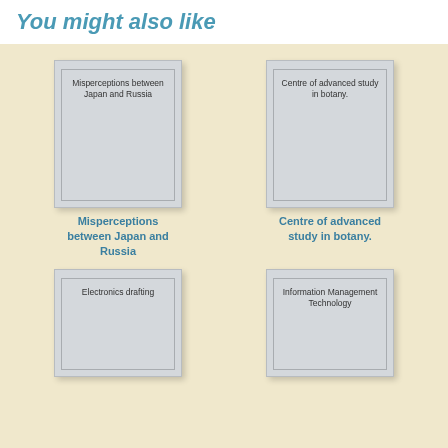You might also like
[Figure (illustration): Book cover thumbnail for 'Misperceptions between Japan and Russia']
Misperceptions between Japan and Russia
[Figure (illustration): Book cover thumbnail for 'Centre of advanced study in botany.']
Centre of advanced study in botany.
[Figure (illustration): Book cover thumbnail for 'Electronics drafting']
[Figure (illustration): Book cover thumbnail for 'Information Management Technology']